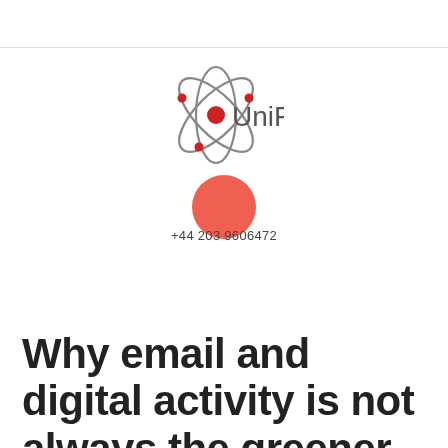[Figure (logo): UniFida logo: atom symbol with orbiting ellipses and red dots, next to the text 'UniFida' in grey sans-serif]
[Figure (other): Large coral/salmon red filled circle, approximately 60px diameter, centered on page]
+44 203 9606472
Why email and digital activity is not always the greener option